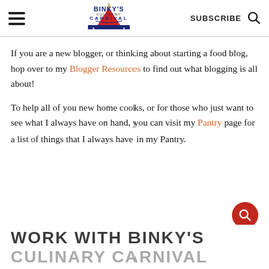Binky's Culinary Carnival — SUBSCRIBE
If you are a new blogger, or thinking about starting a food blog, hop over to my Blogger Resources to find out what blogging is all about!
To help all of you new home cooks, or for those who just want to see what I always have on hand, you can visit my Pantry page for a list of things that I always have in my Pantry.
WORK WITH BINKY'S CULINARY CARNIVAL